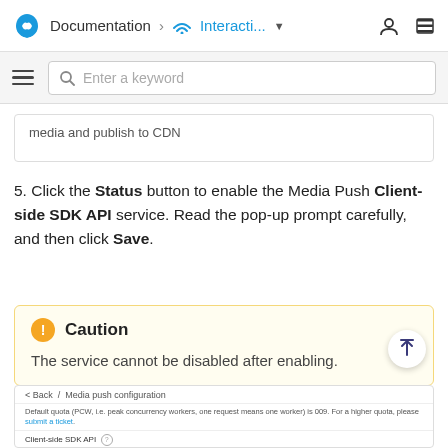Documentation > Interacti... (dropdown) [user icon] [menu icon]
[Figure (screenshot): Navigation bar with Agora logo, Documentation breadcrumb, Interacti... dropdown, user and menu icons]
[Figure (screenshot): Search bar with hamburger menu icon and 'Enter a keyword' placeholder text]
media and publish to CDN
5. Click the Status button to enable the Media Push Client-side SDK API service. Read the pop-up prompt carefully, and then click Save.
Caution
The service cannot be disabled after enabling.
[Figure (screenshot): Media push configuration screenshot showing: Back / Media push configuration breadcrumb, default quota notice with submit a ticket link, Client-side SDK API label with info icon, Status row with enabled blue toggle switch highlighted in red border]